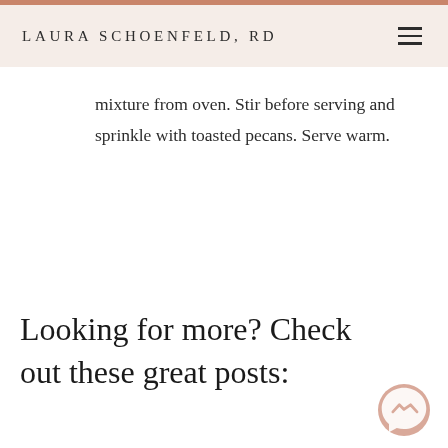LAURA SCHOENFELD, RD
mixture from oven. Stir before serving and sprinkle with toasted pecans. Serve warm.
Looking for more? Check out these great posts: